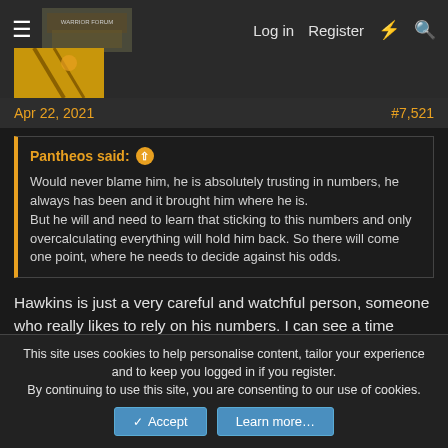Log in  Register
Apr 22, 2021    #7,521
Pantheos said: ↑
Would never blame him, he is absolutely trusting in numbers, he always has been and it brought him where he is.
But he will and need to learn that sticking to this numbers and only overcalculating everything will hold him back. So there will come one point, where he needs to decide against his odds.
Hawkins is just a very careful and watchful person, someone who really likes to rely on his numbers. I can see a time where his absolute trust will hold him back and affect him negatively. This could be that time, however I think think it'll happen only at
This site uses cookies to help personalise content, tailor your experience and to keep you logged in if you register.
By continuing to use this site, you are consenting to our use of cookies.